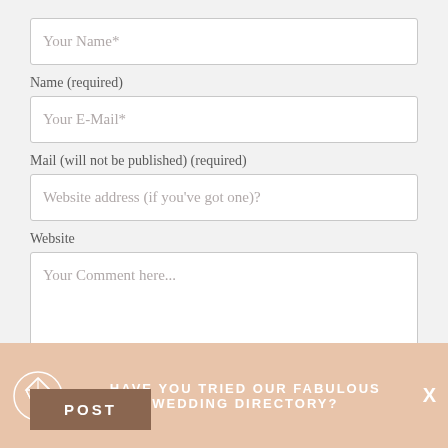Your Name*
Name (required)
Your E-Mail*
Mail (will not be published) (required)
Website address (if you've got one)?
Website
Your Comment here...
POST
HAVE YOU TRIED OUR FABULOUS WEDDING DIRECTORY?